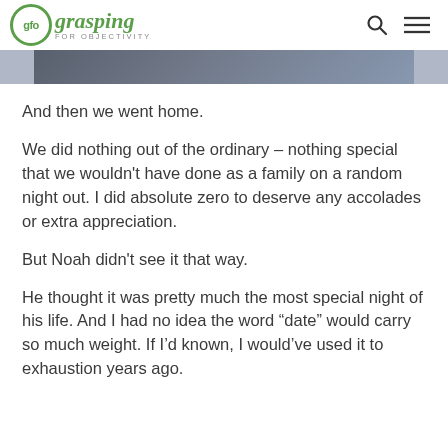gfo grasping FOR OBJECTIVITY
[Figure (photo): Partial photo strip showing what appears to be people, cropped at top of content area]
And then we went home.
We did nothing out of the ordinary – nothing special that we wouldn't have done as a family on a random night out. I did absolute zero to deserve any accolades or extra appreciation.
But Noah didn't see it that way.
He thought it was pretty much the most special night of his life. And I had no idea the word “date” would carry so much weight. If I’d known, I would’ve used it to exhaustion years ago.